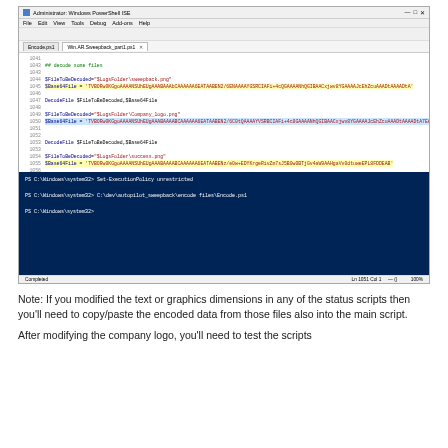[Figure (screenshot): Windows PowerShell ISE screenshot showing PowerShell script code for decoding files (sweepback.png, company logo, success.png, win.sp.sweepback.status_part1.ps1) with base64 encoded strings, and a terminal area showing: 'PS C:\Windows\system32> Set-ExecutionPolicy unrestricted', 'PS C:\Windows\system32> C:\dev\autopilot_sweepback\encode files\Encode.ps1', 'PS C:\Windows\system32>']
Note: If you modified the text or graphics dimensions in any of the status scripts then you'll need to copy/paste the encoded data from those files also into the main script.
After modifying the company logo, you'll need to test the scripts